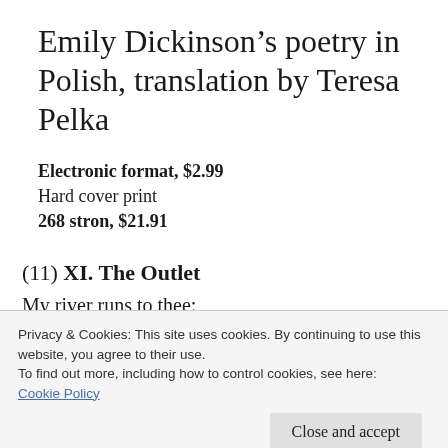Emily Dickinson’s poetry in Polish, translation by Teresa Pelka
Electronic format, $2.99
Hard cover print
268 stron, $21.91
(11) XI. The Outlet
My river runs to thee:
Privacy & Cookies: This site uses cookies. By continuing to use this website, you agree to their use.
To find out more, including how to control cookies, see here:
Cookie Policy
Close and accept
I cannot live with you